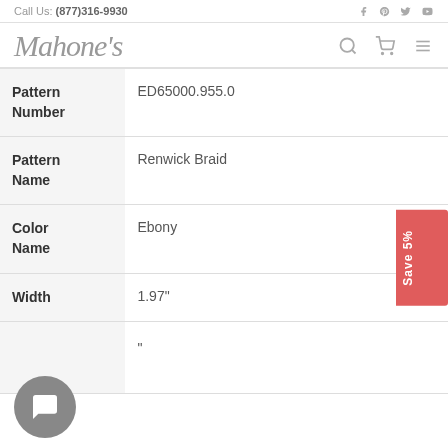Call Us: (877)316-9930
[Figure (logo): Mahone's script logo with search, cart, and menu icons]
| Attribute | Value |
| --- | --- |
| Pattern Number | ED65000.955.0 |
| Pattern Name | Renwick Braid |
| Color Name | Ebony |
| Width | 1.97" |
| Repeat | " |